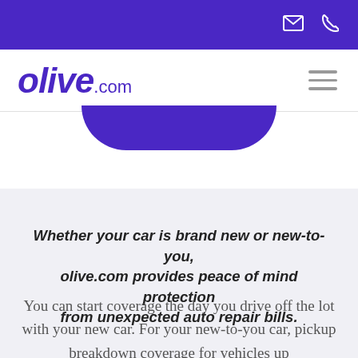[email icon] [phone icon]
[Figure (logo): olive.com logo in purple italic bold font with hamburger menu icon]
[Figure (other): Partial purple rounded button visible at top of content area]
Whether your car is brand new or new-to-you, olive.com provides peace of mind protection from unexpected auto repair bills.
You can start coverage the day you drive off the lot with your new car. For your new-to-you car, pickup breakdown coverage for vehicles up